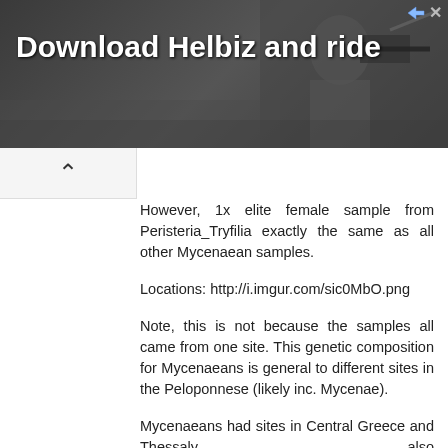[Figure (photo): Advertisement banner with dark/grey background showing text 'Download Helbiz and ride' in large white bold font, with a person holding a camera in the background. Ad icon and close button in top right corner.]
However, 1x elite female sample from Peristeria_Tryfilia exactly the same as all other Mycenaean samples.
Locations: http://i.imgur.com/sic0MbO.png
Note, this is not because the samples all came from one site. This genetic composition for Mycenaeans is general to different sites in the Peloponnese (likely inc. Mycenae).
Mycenaeans had sites in Central Greece and Thessaly also (https://en.wikipedia.org/wiki/Mycenaean_Greece) so those may have had a subtly different genetic composition. Possibly with more Steppe related ancestry.
Also modern Greeks have different levels, so possible modern Peloponnese Greeks have same / less Steppe ancestry than Mycenaean Central Greeks (if we ever get samples to compare).